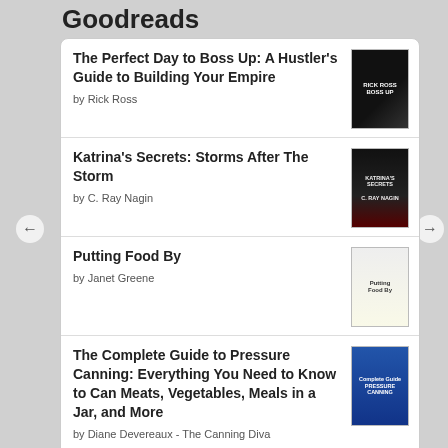Goodreads
The Perfect Day to Boss Up: A Hustler's Guide to Building Your Empire
by Rick Ross
Katrina's Secrets: Storms After The Storm
by C. Ray Nagin
Putting Food By
by Janet Greene
The Complete Guide to Pressure Canning: Everything You Need to Know to Can Meats, Vegetables, Meals in a Jar, and More
by Diane Devereaux - The Canning Diva
The Southeast Native Plant Primer: 225 Plants for an Earth-Friendly Garden